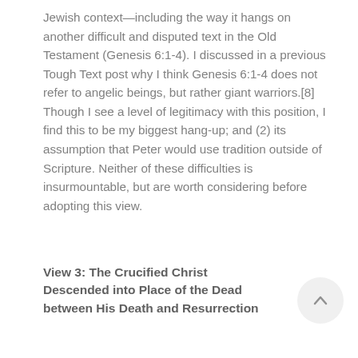Jewish context—including the way it hangs on another difficult and disputed text in the Old Testament (Genesis 6:1-4). I discussed in a previous Tough Text post why I think Genesis 6:1-4 does not refer to angelic beings, but rather giant warriors.[8] Though I see a level of legitimacy with this position, I find this to be my biggest hang-up; and (2) its assumption that Peter would use tradition outside of Scripture. Neither of these difficulties is insurmountable, but are worth considering before adopting this view.
View 3: The Crucified Christ Descended into Place of the Dead between His Death and Resurrection